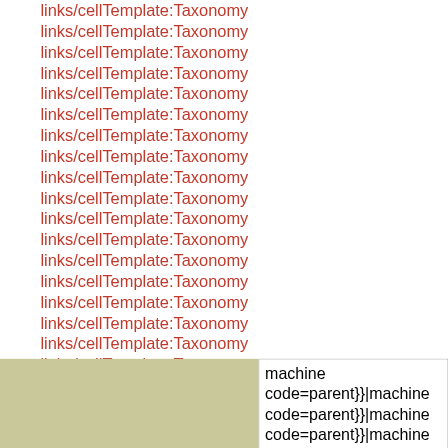links/cellTemplate:Taxonomy links/cellTemplate:Taxonomy links/cellTemplate:Taxonomy links/cellTemplate:Taxonomy links/cellTemplate:Taxonomy links/cellTemplate:Taxonomy links/cellTemplate:Taxonomy links/cellTemplate:Taxonomy links/cellTemplate:Taxonomy links/cellTemplate:Taxonomy links/cellTemplate:Taxonomy links/cellTemplate:Taxonomy links/cellTemplate:Taxonomy links/cellTemplate:Taxonomy links/cellTemplate:Taxonomy links/cellTemplate:Taxonomy links/cellTemplate:Taxonomy links/cellTemplate:Taxonomy links/cellTemplate:Taxonomy links/cellTemplate:Taxonomy links/cellTemplate:Taxonomy links/cellTemplate:Taxonomy links/cellTemplate:Taxonomy links/cellTemplate:Taxonomy links/cellTemplate:Taxonomy links/cellTemplate:Taxonomy links/cellTemplate:Taxonomy links/cellTemplate:Taxonomy links/cellTemplate:Taxonomy links/cellTemplate:Taxonomy links/cellTemplate:Taxonomy links/collapsed cellTemplate:Taxonomy links/cell
|  | machine code=parent}}|machine code=parent}}|machine code=parent}}|machine |